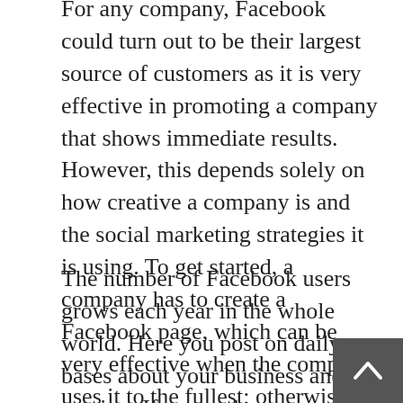For any company, Facebook could turn out to be their largest source of customers as it is very effective in promoting a company that shows immediate results. However, this depends solely on how creative a company is and the social marketing strategies it is using. To get started, a company has to create a Facebook page, which can be very effective when the company uses it to the fullest; otherwise, a wrong move could be very detrimental to a company. Therefore, it is important to take the Facebook page with seriousness and to give it a genuine thought when starting out.
The number of Facebook users grows each year in the whole world. Here you post on daily bases about your business and services If you make your page interesting, people can then engage with it as well as be entertained. Your follower number will increase ultimately leading to an increase your brand awareness. If you don't do anything with your page and group, ignore your customer queries, then your reputation could end up damaged. They key is to show a great customer service, and it's important to keep